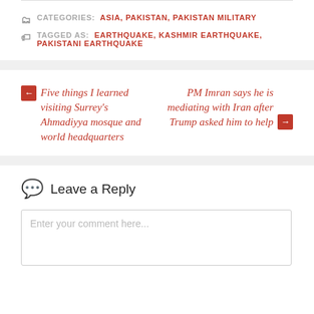CATEGORIES: ASIA, PAKISTAN, PAKISTAN MILITARY
TAGGED AS: EARTHQUAKE, KASHMIR EARTHQUAKE, PAKISTANI EARTHQUAKE
← Five things I learned visiting Surrey's Ahmadiyya mosque and world headquarters
PM Imran says he is mediating with Iran after Trump asked him to help →
Leave a Reply
Enter your comment here...